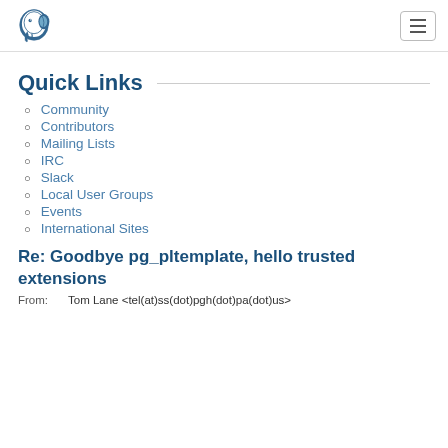PostgreSQL logo and navigation toggle
Quick Links
Community
Contributors
Mailing Lists
IRC
Slack
Local User Groups
Events
International Sites
Re: Goodbye pg_pltemplate, hello trusted extensions
From:    Tom Lane <tel(at)ss(dot)pgh(dot)pa(dot)us>